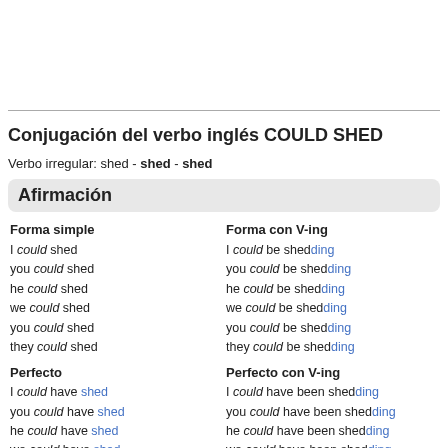Conjugación del verbo inglés COULD SHED
Verbo irregular: shed - shed - shed
Afirmación
| Forma simple | Forma con V-ing |
| --- | --- |
| I could shed | I could be shedding |
| you could shed | you could be shedding |
| he could shed | he could be shedding |
| we could shed | we could be shedding |
| you could shed | you could be shedding |
| they could shed | they could be shedding |
| Perfecto | Perfecto con V-ing |
| --- | --- |
| I could have shed | I could have been shedding |
| you could have shed | you could have been shedding |
| he could have shed | he could have been shedding |
| we could have shed | we could have been shedding |